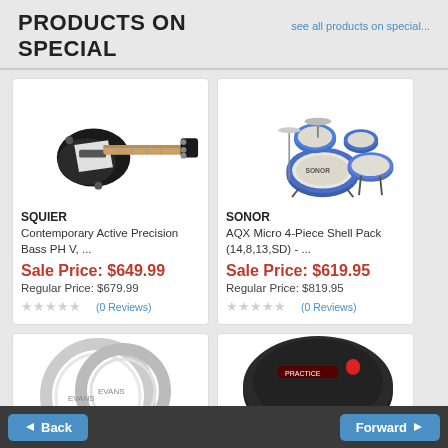PRODUCTS ON SPECIAL
see all products on special...
[Figure (photo): Black Squier bass guitar on white background]
SQUIER
Contemporary Active Precision Bass PH V, ...
Sale Price: $649.99
Regular Price: $679.99
(0 Reviews)
[Figure (photo): Blue Sonor AQX Micro 4-piece drum shell pack on white background]
SONOR
AQX Micro 4-Piece Shell Pack (14,8,13,SD) - ...
Sale Price: $619.95
Regular Price: $819.95
(0 Reviews)
[Figure (photo): Partial view of drum heads]
[Figure (photo): Partial view of a black drum practice pad with red knob]